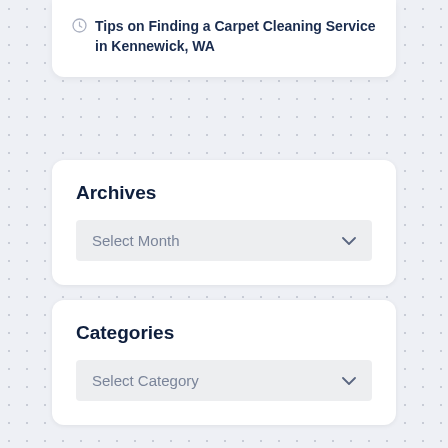Tips on Finding a Carpet Cleaning Service in Kennewick, WA
Archives
Select Month
Categories
Select Category